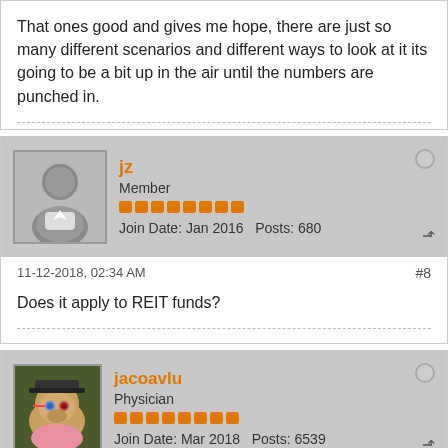That ones good and gives me hope, there are just so many different scenarios and different ways to look at it its going to be a bit up in the air until the numbers are punched in.
jz
Member
Join Date: Jan 2016   Posts: 680
11-12-2018, 02:34 AM
#8
Does it apply to REIT funds?
jacoavlu
Physician
Join Date: Mar 2018   Posts: 6539